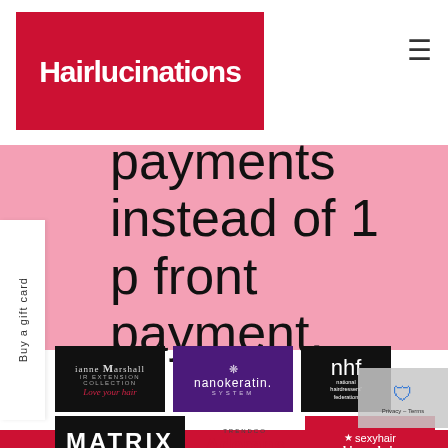[Figure (logo): Hairlucinations logo - white text on red background]
payments instead of 1 p front payment.
Buy a gift card
[Figure (logo): Dianne Marshall Hair Extension Collection - Love your hair logo on dark background]
[Figure (logo): nanokeratin SYSTEM logo on purple background]
[Figure (logo): nhf national hairdressers federation logo on dark background]
[Figure (logo): MATRIX IMAGINE ALL YOU CAN BE logo on dark background]
[Figure (logo): Trendco Aderans UK logo in red]
[Figure (logo): sexyhair bigsexyhair logo on red background with star]